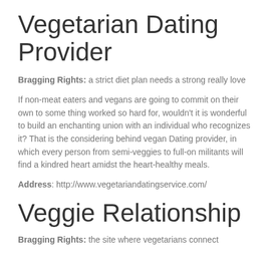Vegetarian Dating Provider
Bragging Rights: a strict diet plan needs a strong really love
If non-meat eaters and vegans are going to commit on their own to some thing worked so hard for, wouldn't it is wonderful to build an enchanting union with an individual who recognizes it? That is the considering behind vegan Dating provider, in which every person from semi-veggies to full-on militants will find a kindred heart amidst the heart-healthy meals.
Address: http://www.vegetariandatingservice.com/
Veggie Relationship
Bragging Rights: the site where vegetarians connect